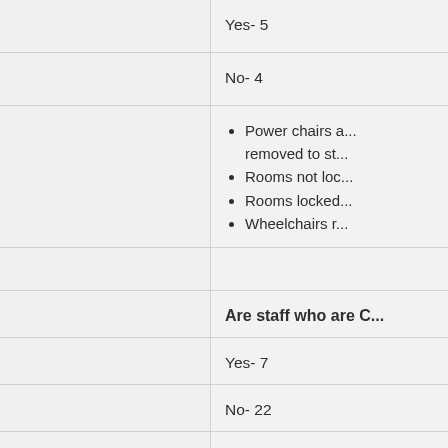Yes- 5
No- 4
Power chairs a... removed to st...
Rooms not loc...
Rooms locked...
Wheelchairs r...
Are staff who are C...
Yes- 7
No- 22
Don't know- 3